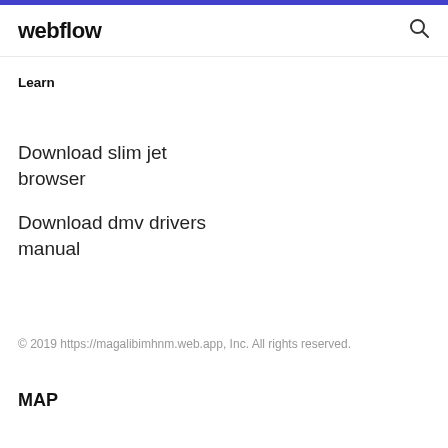webflow
Learn
Download slim jet browser
Download dmv drivers manual
© 2019 https://magalibimhnm.web.app, Inc. All rights reserved.
MAP